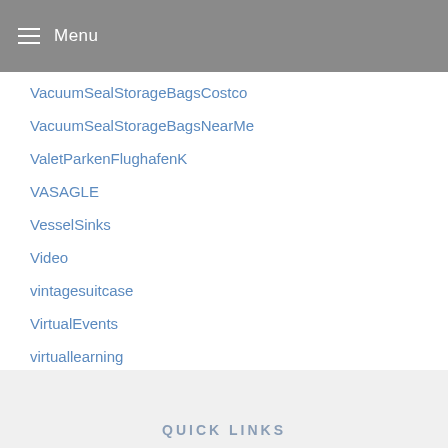Menu
VacuumSealStorageBagsCostco
VacuumSealStorageBagsNearMe
ValetParkenFlughafenK
VASAGLE
VesselSinks
Video
vintagesuitcase
VirtualEvents
virtuallearning
VirtualOrganizing
VNDUEEY
Volcanics
QUICK LINKS